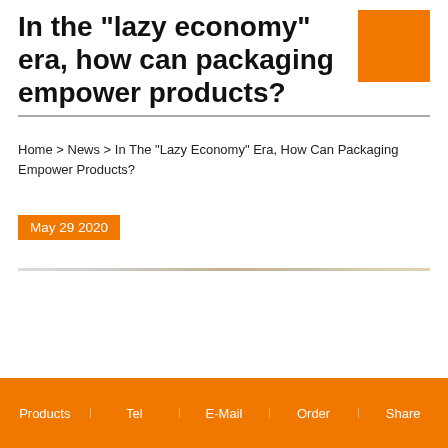In the "lazy economy" era, how can packaging empower products?
Home > News > In The "Lazy Economy" Era, How Can Packaging Empower Products?
May 29 2020
Products | Tel | E-Mail | Order | Share